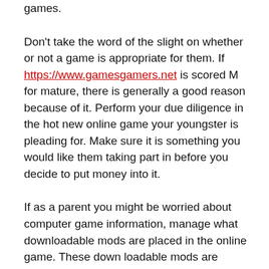games.
Don't take the word of the slight on whether or not a game is appropriate for them. If https://www.gamesgamers.net is scored M for mature, there is generally a good reason because of it. Perform your due diligence in the hot new online game your youngster is pleading for. Make sure it is something you would like them taking part in before you decide to put money into it.
If as a parent you might be worried about computer game information, manage what downloadable mods are placed in the online game. These down loadable mods are normally made by gamers, not the video online game companies, so there is no rating program. What